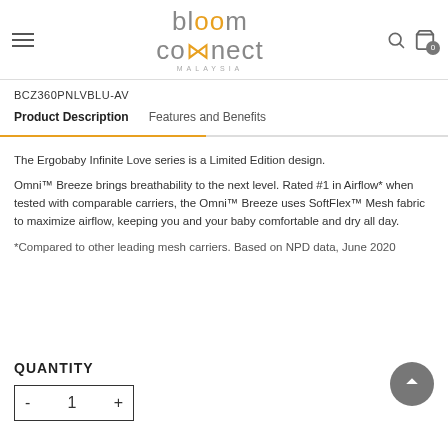bloom connect MALAYSIA
BCZ360PNLVBLU-AV
Product Description  Features and Benefits
The Ergobaby Infinite Love series is a Limited Edition design.
Omni™ Breeze brings breathability to the next level. Rated #1 in Airflow* when tested with comparable carriers, the Omni™ Breeze uses SoftFlex™ Mesh fabric to maximize airflow, keeping you and your baby comfortable and dry all day.
*Compared to other leading mesh carriers. Based on NPD data, June 2020
QUANTITY
- 1 +